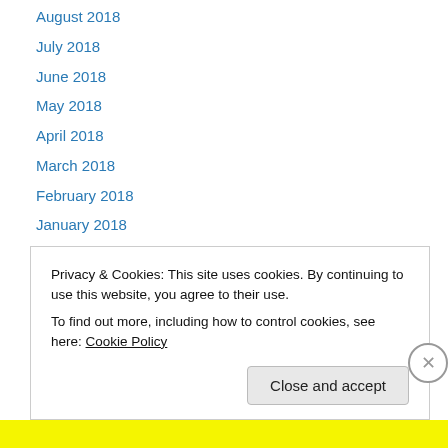August 2018
July 2018
June 2018
May 2018
April 2018
March 2018
February 2018
January 2018
August 2017
July 2017
June 2017
May 2017
April 2017
Privacy & Cookies: This site uses cookies. By continuing to use this website, you agree to their use.
To find out more, including how to control cookies, see here: Cookie Policy
Close and accept